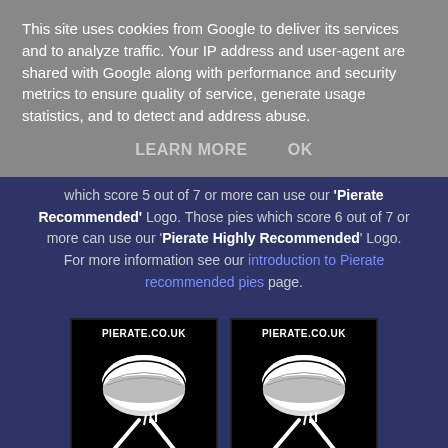This site uses cookies from Google to deliver its services and to analyze traffic. Your IP address and user-agent are shared with Google along with performance and security metrics to ensure quality of service, generate usage statistics, and to detect and address abuse.
LEARN MORE   OK
which score 5 out of 7 or more can use our 'Pierate Recommended' Logo. Those pies which score 6 out of 7 or more can use our 'Pierate Highly Recommended' Logo. For more information see our introduction to Pierate recommended pies page.
[Figure (logo): Two Pierate.co.uk logo badges showing a pie dish and crossed cutlery on a black background]